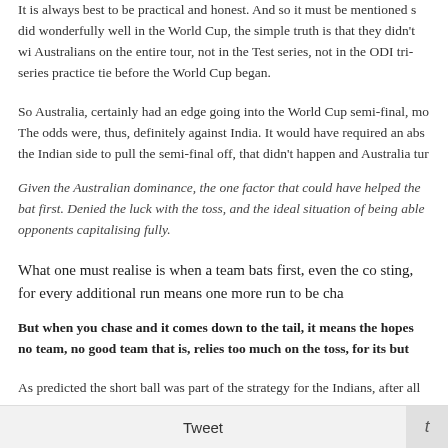It is always best to be practical and honest. And so it must be mentioned so did wonderfully well in the World Cup, the simple truth is that they didn't wi Australians on the entire tour, not in the Test series, not in the ODI tri-series practice tie before the World Cup began.
So Australia, certainly had an edge going into the World Cup semi-final, mo The odds were, thus, definitely against India. It would have required an abs the Indian side to pull the semi-final off, that didn't happen and Australia tur
Given the Australian dominance, the one factor that could have helped the bat first. Denied the luck with the toss, and the ideal situation of being able opponents capitalising fully.
What one must realise is when a team bats first, even the co sting, for every additional run means one more run to be cha
But when you chase and it comes down to the tail, it means the hopes no team, no good team that is, relies too much on the toss, for its but
As predicted the short ball was part of the strategy for the Indians, after all
Tweet  t